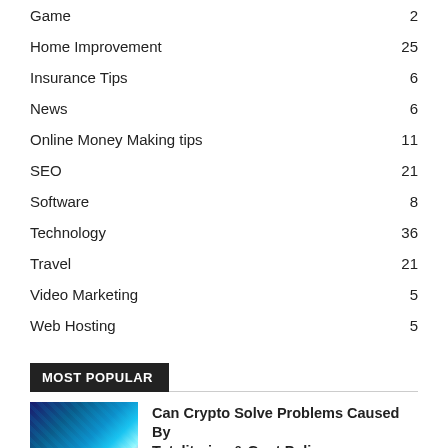Game 2
Home Improvement 25
Insurance Tips 6
News 6
Online Money Making tips 11
SEO 21
Software 8
Technology 36
Travel 21
Video Marketing 5
Web Hosting 5
MOST POPULAR
Can Crypto Solve Problems Caused By Totalitarian & Govt Policy...